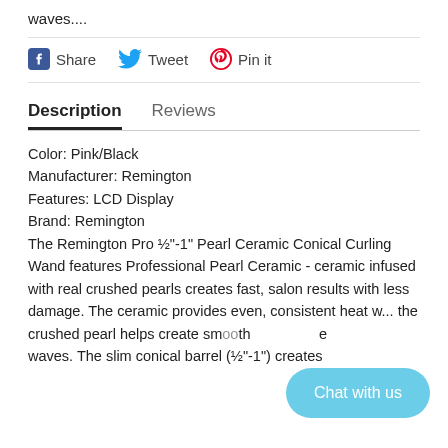waves....
Share   Tweet   Pin it
Description   Reviews
Color: Pink/Black
Manufacturer: Remington
Features: LCD Display
Brand: Remington
The Remington Pro ½"-1" Pearl Ceramic Conical Curling Wand features Professional Pearl Ceramic - ceramic infused with real crushed pearls creates fast, salon results with less damage. The ceramic provides even, consistent heat w... the crushed pearl helps create sm... waves. The slim conical barrel (½"-1") creates